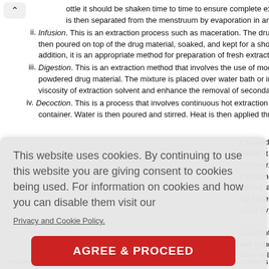ottle it should be shaken time to time to ensure complete extraction. At the is then separated from the menstruum by evaporation in an oven or on top of
ii. Infusion. This is an extraction process such as maceration. The drug material is then poured on top of the drug material, soaked, and kept for a short period. In addition, it is an appropriate method for preparation of fresh extract before use.
iii. Digestion. This is an extraction method that involves the use of moderate heat on powdered drug material. The mixture is placed over water bath or in an oven to reduce viscosity of extraction solvent and enhance the removal of secondary metabolites.
iv. Decoction. This is a process that involves continuous hot extraction using a container. Water is then poured and stirred. Heat is then applied throughout.
This website uses cookies. By continuing to use this website you are giving consent to cookies being used. For information on cookies and how you can disable them visit our Privacy and Cookie Policy.
AGREE & PROCEED
heated from the bottom flask, evaporates, and passes through the condenser